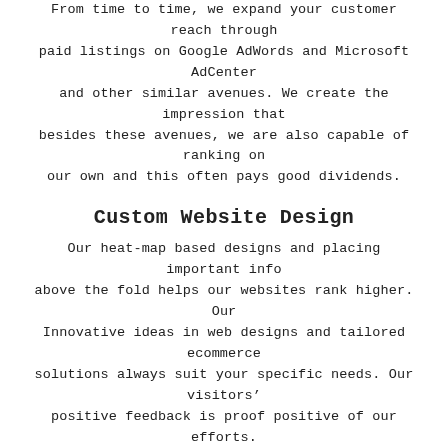From time to time, we expand your customer reach through paid listings on Google AdWords and Microsoft AdCenter and other similar avenues. We create the impression that besides these avenues, we are also capable of ranking on our own and this often pays good dividends.
Custom Website Design
Our heat-map based designs and placing important info above the fold helps our websites rank higher. Our Innovative ideas in web designs and tailored ecommerce solutions always suit your specific needs. Our visitors’ positive feedback is proof positive of our efforts.
Custom Email Design
All our emails contain specific branding that show our sincerity in creating brand equity. Our subscribers simply love these efforts and always open the emails and converse with us. Our personalized email templates truly convey messages